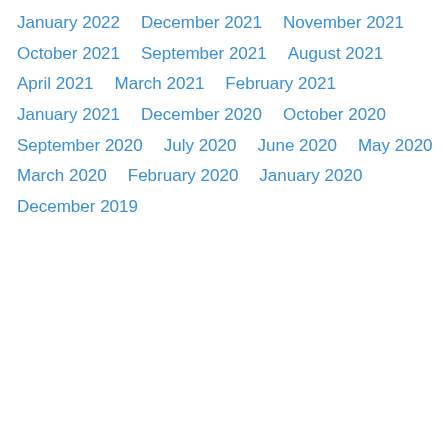January 2022
December 2021
November 2021
October 2021
September 2021
August 2021
April 2021
March 2021
February 2021
January 2021
December 2020
October 2020
September 2020
July 2020
June 2020
May 2020
March 2020
February 2020
January 2020
December 2019